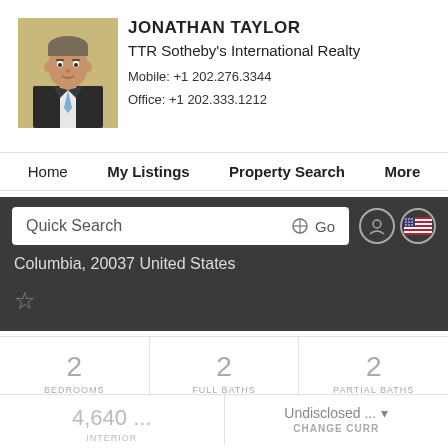[Figure (photo): Headshot of Jonathan Taylor, a man in a dark suit with a light blue tie, professional real estate agent photo]
JONATHAN TAYLOR
TTR Sotheby's International Realty
Mobile: +1 202.276.3344
Office: +1 202.333.1212
Home   My Listings   Property Search   More
Quick Search  ✦ Go
Columbia, 20037 United States
★
2
BEDROOMS
2
FULL BATHS
2
PARTIAL BATHS
4,640 ...
INTERIOR
Undisclosed ... ▾
CHANGE CURR